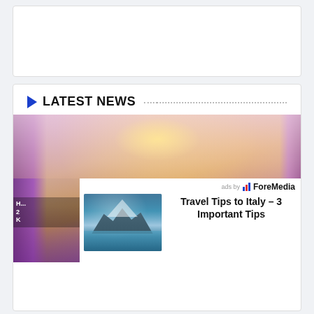[Figure (other): Empty white card/banner area at top]
LATEST NEWS
[Figure (photo): Banquet hall with purple drapes, round tables with purple tablecloths and floral centerpieces, warm golden ceiling lights, chandeliers]
EDUCATIONAL NEWS
[Figure (photo): Mountain lake scene with turquoise water and snowy peaks reflected, used as ad thumbnail]
ads by ForeMedia
Travel Tips to Italy – 3 Important Tips